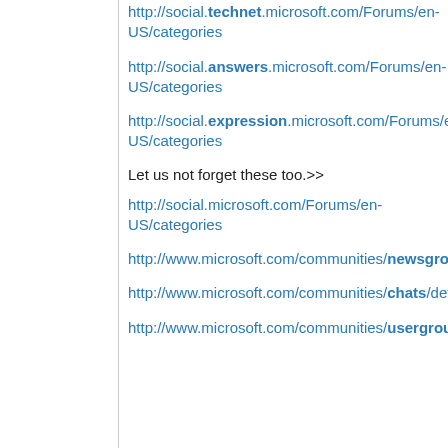http://social.technet.microsoft.com/Forums/en-US/categories
http://social.answers.microsoft.com/Forums/en-US/categories
http://social.expression.microsoft.com/Forums/en-US/categories
Let us not forget these too.>>
http://social.microsoft.com/Forums/en-US/categories
http://www.microsoft.com/communities/newsgroups/default.mspx
http://www.microsoft.com/communities/chats/default.mspx
http://www.microsoft.com/communities/usergroups/default.mspx